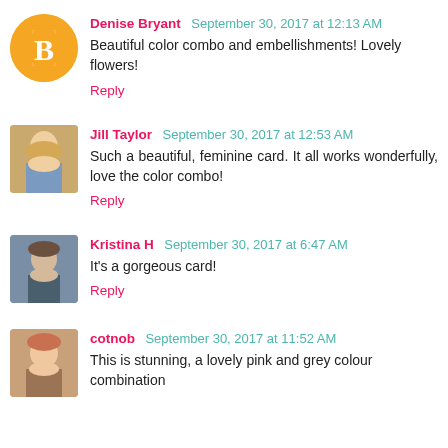Denise Bryant  September 30, 2017 at 12:13 AM
Beautiful color combo and embellishments! Lovely flowers!
Reply
Jill Taylor  September 30, 2017 at 12:53 AM
Such a beautiful, feminine card. It all works wonderfully, love the color combo!
Reply
Kristina H  September 30, 2017 at 6:47 AM
It's a gorgeous card!
Reply
cotnob  September 30, 2017 at 11:52 AM
This is stunning, a lovely pink and grey colour combination